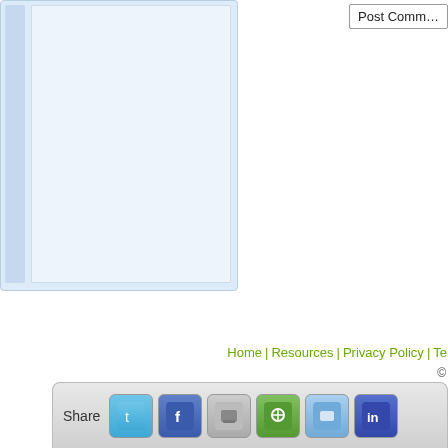[Figure (screenshot): Partial view of a comment text area input box with light blue background and a left accent bar]
[Figure (screenshot): Partially visible 'Post Comm...' button (Post Comment) in the upper right]
Home | Resources | Privacy Policy | Te...
©
[Figure (screenshot): Share toolbar at bottom with Share label and social media icon buttons: Twitter, Facebook, gray, green, light blue, dark blue]